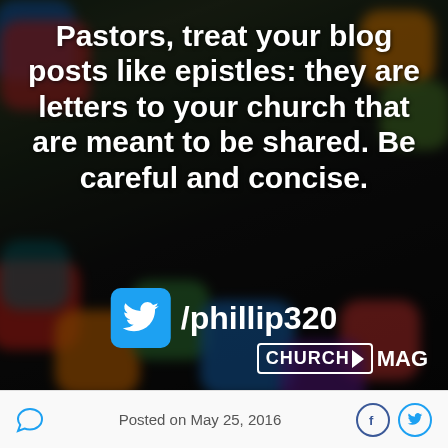[Figure (infographic): Blurred smartphone app icons background with bold white text quote, Twitter handle, and ChurchMag logo]
Pastors, treat your blog posts like epistles: they are letters to your church that are meant to be shared. Be careful and concise.
/phillip320
Posted on May 25, 2016